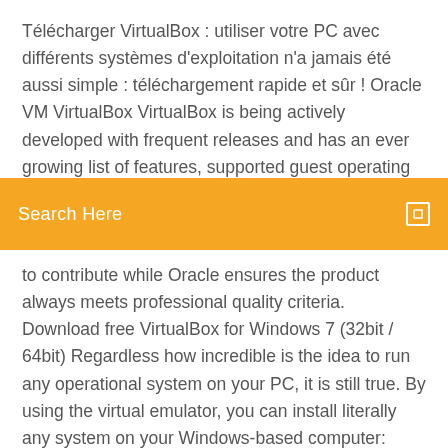Télécharger VirtualBox : utiliser votre PC avec différents systèmes d'exploitation n'a jamais été aussi simple : téléchargement rapide et sûr ! Oracle VM VirtualBox VirtualBox is being actively developed with frequent releases and has an ever growing list of features, supported guest operating
[Figure (screenshot): Orange search bar with text 'Search Here' and a small square icon on the right]
to contribute while Oracle ensures the product always meets professional quality criteria. Download free VirtualBox for Windows 7 (32bit / 64bit) Regardless how incredible is the idea to run any operational system on your PC, it is still true. By using the virtual emulator, you can install literally any system on your Windows-based computer: Linux, Unix, FreeBSD, Android, Mac OS X, even not mentioning all the systems from Windows generation: from ancient Win 95 and 98 builds to the latest Win 8.1 and Win 10 releases (both 32- or 64-bit). Download